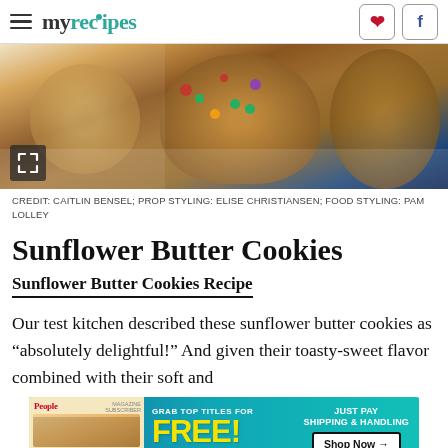myrecipes
[Figure (photo): Sunflower butter cookies with M&M candies on a white plate, with yellow confetti ribbons on a blue background]
CREDIT: CAITLIN BENSEL; PROP STYLING: ELISE CHRISTIANSEN; FOOD STYLING: PAM LOLLEY
Sunflower Butter Cookies
Sunflower Butter Cookies Recipe
Our test kitchen described these sunflower butter cookies as “absolutely delightful!” And given their toasty-sweet flavor combined with their soft and
[Figure (infographic): Advertisement banner: Grab top titles for FREE (up to $100) - Just Pay Shipping & Handling - Shop Now. Features People and allrecipes magazine covers.]